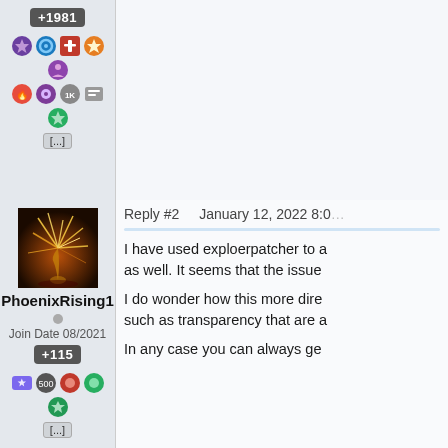[Figure (screenshot): Top of a forum post sidebar showing +1981 reputation badge and multiple colorful badge icons with a '...' more button]
[Figure (screenshot): Forum post by PhoenixRising1: avatar image of golden fireworks/plant, Join Date 08/2021, +115 rep, badge icons, reply #2 January 12, 2022 8:0x, text about exploerpatcher and transparency]
I have used exploerpatcher to a as well. It seems that the issue
I do wonder how this more dire such as transparency that are a
In any case you can always ge
[Figure (screenshot): Forum post by Jafo: pixel-art avatar with headphones, Reply #3, January 12, 2022 8:1x, text about 'Sounds like fun. In theory you... another, however as they say']
Sounds like fun. In 'theory' you another, however as they say "